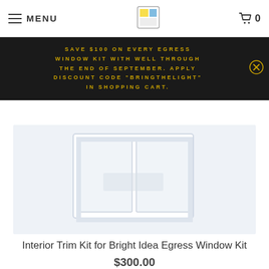MENU | Bright Idea Egress | 0
SAVE $100 ON EVERY EGRESS WINDOW KIT WITH WELL THROUGH THE END OF SEPTEMBER. APPLY DISCOUNT CODE "BRINGTHELIGHT" IN SHOPPING CART.
[Figure (photo): Product photo of interior trim kit for egress window, light blue/white background showing window trim components]
Interior Trim Kit for Bright Idea Egress Window Kit
$300.00